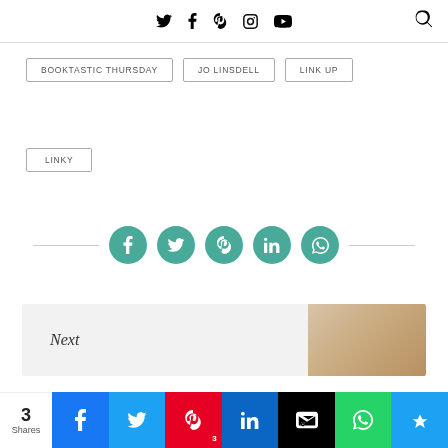Social media icons: Twitter, Facebook, Pinterest, Instagram, YouTube, Search
BOOKTASTIC THURSDAY
JO LINSDELL
LINK UP
LINKY
[Figure (infographic): Social sharing icons row: Facebook, Twitter, Pinterest, LinkedIn, WhatsApp — teal circles with white icons, flanked by horizontal rules]
Next
3 Shares | Facebook | Twitter | Pinterest 3 | LinkedIn | Hootsuite | WhatsApp | Crown